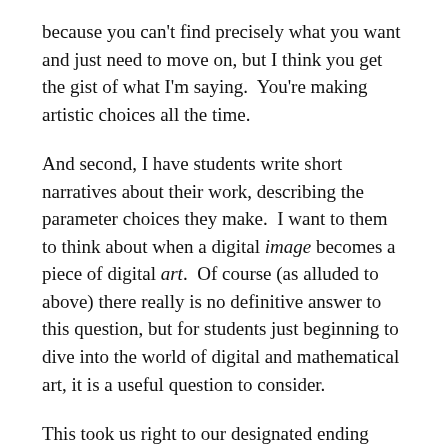because you can't find precisely what you want and just need to move on, but I think you get the gist of what I'm saying.  You're making artistic choices all the time.
And second, I have students write short narratives about their work, describing the parameter choices they make.  I want to them to think about when a digital image becomes a piece of digital art.  Of course (as alluded to above) there really is no definitive answer to this question, but for students just beginning to dive into the world of digital and mathematical art, it is a useful question to consider.
This took us right to our designated ending time, 5:00.  One of the participants suggested a Thai place nearby, and so eleven of us made the short trek just north of campus.  It was actually quite good, according to all accounts.  And as I mentioned earlier, two